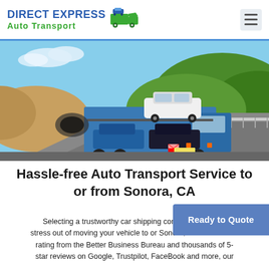DIRECT EXPRESS Auto Transport
[Figure (photo): A blue car transport truck loaded with multiple cars driving on a highway through green hills and mountains.]
Hassle-free Auto Transport Service to or from Sonora, CA
Selecting a trustworthy car shipping company takes the stress out of moving your vehicle to or Sonora, CA. With an A+ rating from the Better Business Bureau and thousands of 5-star reviews on Google, Trustpilot, FaceBook and more, our
Ready to Quote